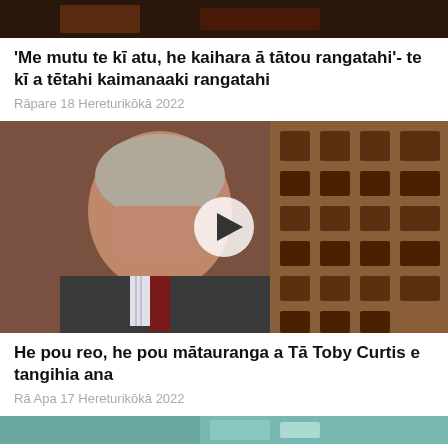[Figure (photo): Top partial image strip, dark/brown tones, cropped person or scene]
'Me mutu te kī atu, he kaihara ā tātou rangatahi'- te kī a tētahi kaimanaaki rangatahi
Rāpare 18 Hereturikōkā 2022
[Figure (photo): Elderly Māori man with grey hair, wearing a dark suit and patterned tie, seated in front of a carved Māori wharenui wall. A white play button overlay is visible in the center of the image.]
He pou reo, he pou mātauranga a Tā Toby Curtis e tangihia ana
Rā Apa 17 Hereturikōkā 2022
[Figure (photo): Partial image strip at bottom, teal/turquoise tones]